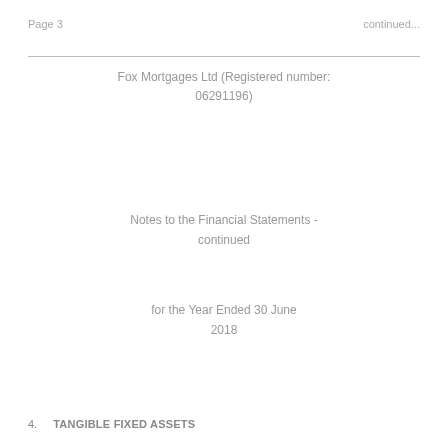Page 3    continued...
Fox Mortgages Ltd (Registered number: 06291196)
Notes to the Financial Statements - continued
for the Year Ended 30 June 2018
4.    TANGIBLE FIXED ASSETS